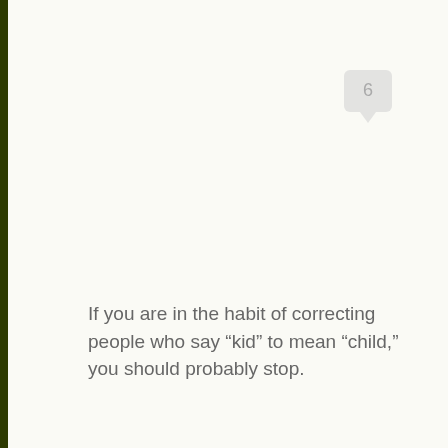[Figure (other): Speech bubble icon with number 6 inside, light gray color]
If you are in the habit of correcting people who say “kid” to mean “child,” you should probably stop.
Read More ▶